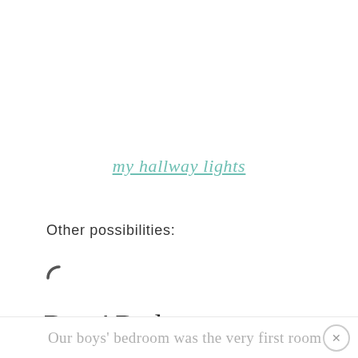my hallway lights
Other possibilities:
[Figure (other): Loading spinner icon (partial circle arc)]
Boys' Bedroom
Our boys' bedroom was the very first room